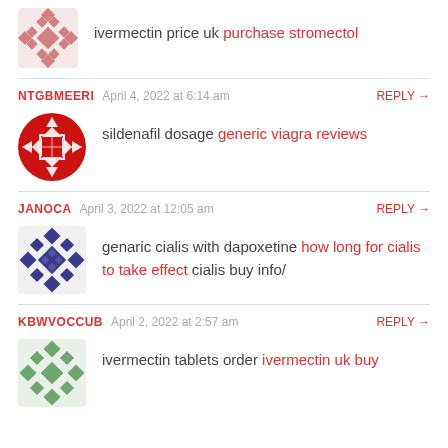ivermectin price uk purchase stromectol
NTGBMEERI  April 4, 2022 at 6:14 am  REPLY →
sildenafil dosage generic viagra reviews
JANOCA  April 3, 2022 at 12:05 am  REPLY →
genaric cialis with dapoxetine how long for cialis to take effect cialis buy info/
KBWVOCCUB  April 2, 2022 at 2:57 am  REPLY →
ivermectin tablets order ivermectin uk buy